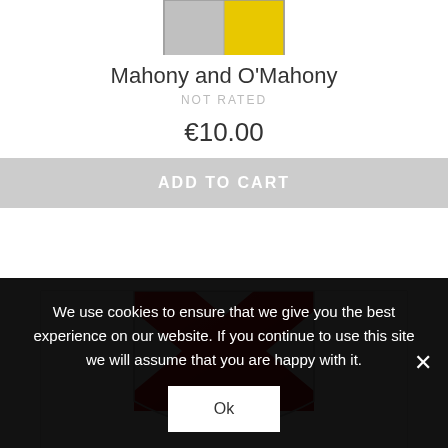[Figure (illustration): Partial view of a heraldic coat of arms shield with grey and yellow sections, cropped at top]
Mahony and O'Mahony
NOT RATED
€10.00
ADD TO CART
[Figure (illustration): Heraldic shield with white/silver background and a large red saltire (X-shaped cross) — coat of arms]
We use cookies to ensure that we give you the best experience on our website. If you continue to use this site we will assume that you are happy with it.
Ok